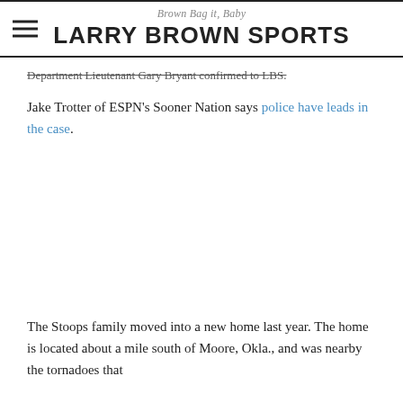Brown Bag it, Baby
LARRY BROWN SPORTS
Department Lieutenant Gary Bryant confirmed to LBS.
Jake Trotter of ESPN's Sooner Nation says police have leads in the case.
The Stoops family moved into a new home last year. The home is located about a mile south of Moore, Okla., and was nearby the tornadoes that